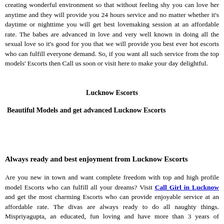creating wonderful environment so that without feeling shy you can love her anytime and they will provide you 24 hours service and no matter whether it's daytime or nighttime you will get best lovemaking session at an affordable rate. The babes are advanced in love and very well known in doing all the sexual love so it's good for you that we will provide you best ever hot escorts who can fulfill everyone demand. So, if you want all such service from the top models' Escorts then Call us soon or visit here to make your day delightful.
Lucknow Escorts
Beautiful Models and get advanced Lucknow Escorts
Always ready and best enjoyment from Lucknow Escorts
Are you new in town and want complete freedom with top and high profile model Escorts who can fulfill all your dreams? Visit Call Girl in Lucknow and get the most charming Escorts who can provide enjoyable service at an affordable rate. The divas are always ready to do all naughty things. Mispriyagupta, an educated, fun loving and have more than 3 years of modeling experience and